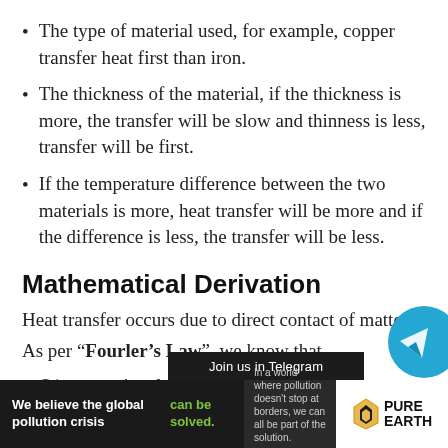The type of material used, for example, copper transfer heat first than iron.
The thickness of the material, if the thickness is more, the transfer will be slow and thinness is less, transfer will be first.
If the temperature difference between the two materials is more, heat transfer will be more and if the difference is less, the transfer will be less.
Mathematical Derivation
Heat transfer occurs due to direct contact of matter.
As per “Fourier’s Law”, we know that,
Q/t proportional to A